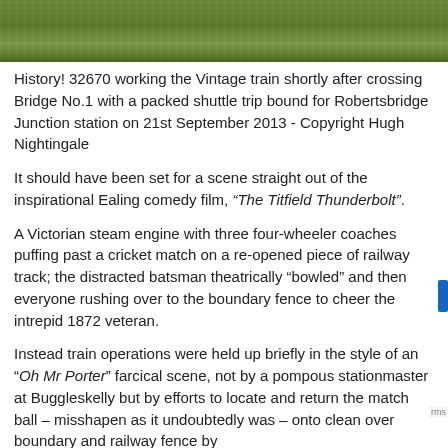[Figure (photo): Top portion of a photograph showing green grassy landscape, partially cropped at the top of the page.]
History! 32670 working the Vintage train shortly after crossing Bridge No.1 with a packed shuttle trip bound for Robertsbridge Junction station on 21st September 2013 - Copyright Hugh Nightingale
It should have been set for a scene straight out of the inspirational Ealing comedy film, “The Titfield Thunderbolt”.
A Victorian steam engine with three four-wheeler coaches puffing past a cricket match on a re-opened piece of railway track; the distracted batsman theatrically “bowled” and then everyone rushing over to the boundary fence to cheer the intrepid 1872 veteran.
Instead train operations were held up briefly in the style of an “Oh Mr Porter” farcical scene, not by a pompous stationmaster at Buggleskelly but by efforts to locate and return the match ball – misshapen as it undoubtedly was – onto clean over boundary and railway fence by...